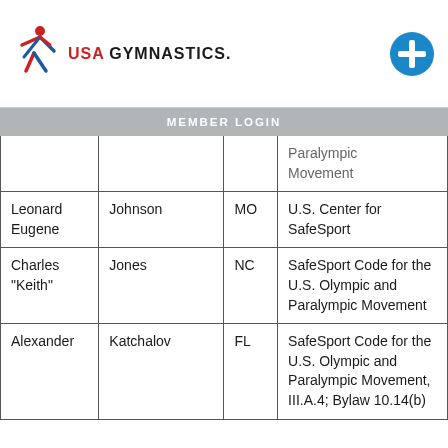USA GYMNASTICS
MEMBER LOGIN
| First Name | Last Name | State | Violation |
| --- | --- | --- | --- |
|  |  |  | Paralympic Movement |
| Leonard Eugene | Johnson | MO | U.S. Center for SafeSport |
| Charles "Keith" | Jones | NC | SafeSport Code for the U.S. Olympic and Paralympic Movement |
| Alexander | Katchalov | FL | SafeSport Code for the U.S. Olympic and Paralympic Movement, III.A.4; Bylaw 10.14(b) |